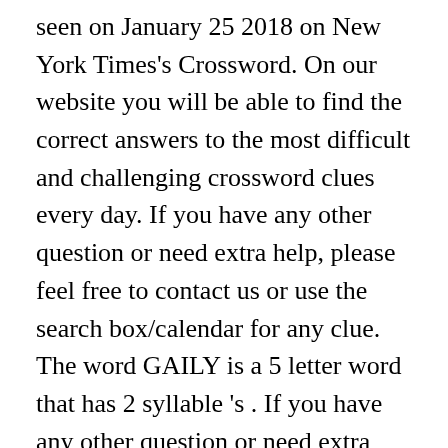seen on January 25 2018 on New York Times's Crossword. On our website you will be able to find the correct answers to the most difficult and challenging crossword clues every day. If you have any other question or need extra help, please feel free to contact us or use the search box/calendar for any clue. The word GAILY is a 5 letter word that has 2 syllable 's . If you have any other question or need extra help, please feel free to contact us or use the search box/calendar for any clue. This clue is related to The Universal Crossword Answers August 21, 2020 (21/08/2020). 0 votes . “P.ZZ..” will find “PUZZLE”.) We found one answer for the crossword clue Bit of good cheer. On this